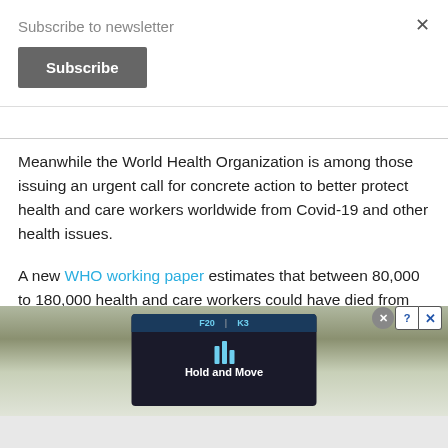Subscribe to newsletter
Subscribe
Meanwhile the World Health Organization is among those issuing an urgent call for concrete action to better protect health and care workers worldwide from Covid-19 and other health issues.
A new WHO working paper estimates that between 80,000 to 180,000 health and care workers could have died from Covid-19 in the period between January 2020 to May 2021,
[Figure (screenshot): Advertisement overlay showing a dark UI box with 'Hold and Move' text, icons, and close buttons, over a background photo of bare trees.]